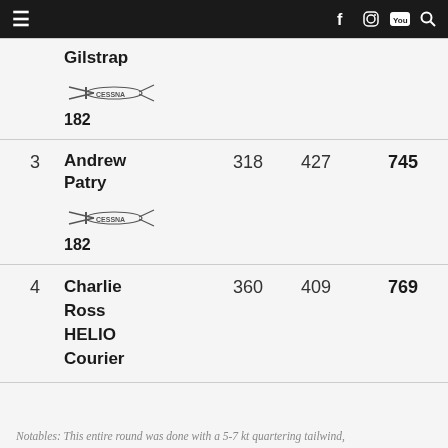Navigation header with hamburger menu, social icons (Facebook, Instagram, YouTube), and search
| Rank | Pilot / Aircraft | Score1 | Score2 | Total |
| --- | --- | --- | --- | --- |
|  | Gilstrap
Cessna 182 |  |  |  |
| 3 | Andrew Patry
Cessna 182 | 318 | 427 | 745 |
| 4 | Charlie Ross
HELIO Courier | 360 | 409 | 769 |
Notables: This entire round was done with a 5-7 kt quartering tailwind,